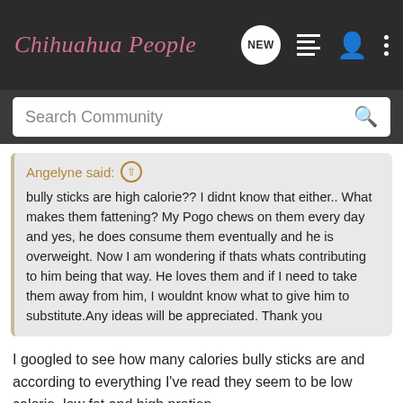Chihuahua People
Search Community
Angelyne said: ↑
bully sticks are high calorie?? I didnt know that either.. What makes them fattening? My Pogo chews on them every day and yes, he does consume them eventually and he is overweight. Now I am wondering if thats whats contributing to him being that way. He loves them and if I need to take them away from him, I wouldnt know what to give him to substitute.Any ideas will be appreciated. Thank you
I googled to see how many calories bully sticks are and according to everything I've read they seem to be low calorie, low fat and high protien.
Calories In Bully Sticks | LIVESTRONG.COM
These are according to red barn bully sticks
Most other sites say bully sticks are around 28-30 calories per